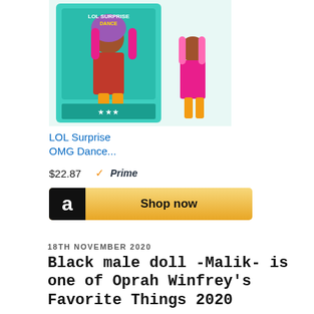[Figure (photo): LOL Surprise OMG Dance doll product image in teal box packaging with doll figure beside it]
LOL Surprise OMG Dance...
$22.87   ✓Prime
[Figure (other): Amazon Shop now button with black Amazon logo box and gold gradient background]
18TH NOVEMBER 2020
Black male doll -Malik- is one of Oprah Winfrey's Favorite Things 2020
Dollpreneur Dr Lisa posted a joyous film on Instagram saying how she had gotten a huge surprise.